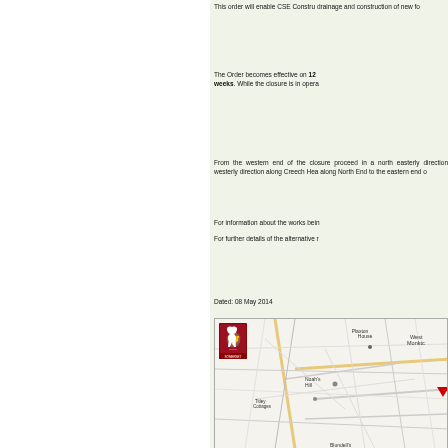This order will enable CSE Constru drainage and construction of new fo
The Order becomes effective on 12 weeks. While the closure is in opera
From the western end of the closure proceed in a north easterly direction westerly direction along Creech Hea along North End to the eastern end o
For information about the works bein
For further details of the alternative r
Dated: 08 May 2014
[Figure (map): Ordnance Survey style road map showing the local area including place names: Plaxton House, West Monkton, Noah's Hill, Titley Cottages, Blundell's. Features a Somerset County Council logo with red griffin in the top-left corner of the map. A red arrow/marker visible on the right side.]